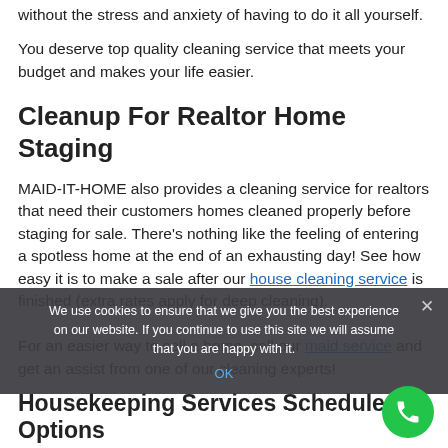without the stress and anxiety of having to do it all yourself.
You deserve top quality cleaning service that meets your budget and makes your life easier.
Cleanup For Realtor Home Staging
MAID-IT-HOME also provides a cleaning service for realtors that need their customers homes cleaned properly before staging for sale. There’s nothing like the feeling of entering a spotless home at the end of an exhausting day! See how easy it is to make a sale after our house cleaning service is finished (extra rates apply for deep cleaning).
For an easier way to sell a home, call our maid service and get an assist from one of our cleaning experts!
We use cookies to ensure that we give you the best experience on our website. If you continue to use this site we will assume that you are happy with it.
Housekeeping Services Schedule Options